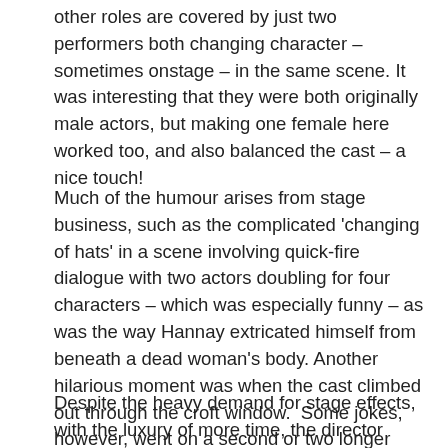other roles are covered by just two performers both changing character – sometimes onstage – in the same scene. It was interesting that they were both originally male actors, but making one female here worked too, and also balanced the cast – a nice touch!
Much of the humour arises from stage business, such as the complicated 'changing of hats' in a scene involving quick-fire dialogue with two actors doubling for four characters – which was especially funny – as was the way Hannay extricated himself from beneath a dead woman's body. Another hilarious moment was when the cast climbed out through the croft window.  Some jokes, however, went on a second or two longer than they should have done, though usually executed as specified in the text.
Despite the heavy demand for stage effects, with the luxury of more time, the director might have considered using light and sound to drive the action forward rather than letting it